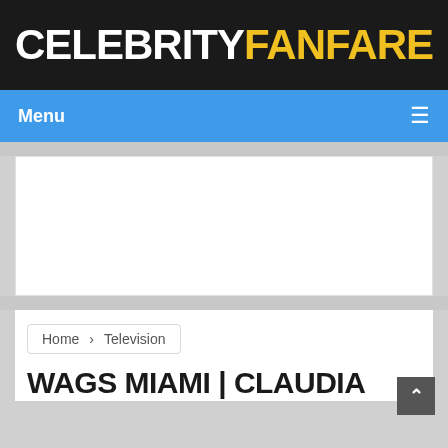CELEBRITY FANFARE
Menu
[Figure (other): Advertisement placeholder white box]
Home › Television
WAGS MIAMI | CLAUDIA